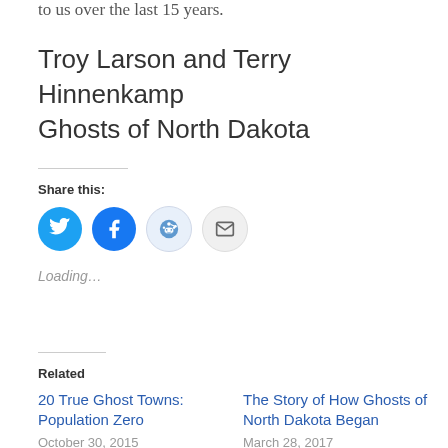to us over the last 15 years.
Troy Larson and Terry Hinnenkamp
Ghosts of North Dakota
Share this:
[Figure (infographic): Four circular social share buttons: Twitter (blue bird icon), Facebook (blue f icon), Reddit (light blue alien icon), Email (grey envelope icon)]
Loading...
Related
20 True Ghost Towns: Population Zero
October 30, 2015
The Story of How Ghosts of North Dakota Began
March 28, 2017